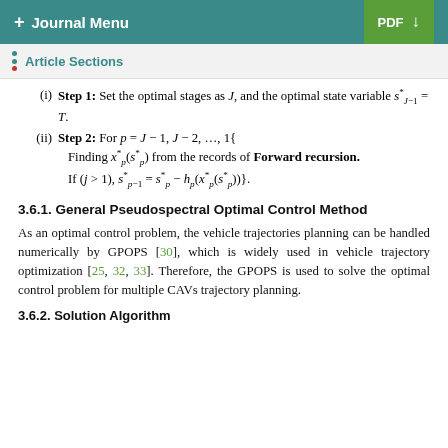+ Journal Menu | PDF ↓
Article Sections
(i) Step 1: Set the optimal stages as J, and the optimal state variable s*_{J-1} = T.
(ii) Step 2: For p = J − 1, J − 2, …, 1{ Finding x*_p(s*_p) from the records of Forward recursion. If (j > 1), s*_{p-1} = s*_p − h_p(x*_p(s*_p))}.
3.6.1. General Pseudospectral Optimal Control Method
As an optimal control problem, the vehicle trajectories planning can be handled numerically by GPOPS [30], which is widely used in vehicle trajectory optimization [25, 32, 33]. Therefore, the GPOPS is used to solve the optimal control problem for multiple CAVs trajectory planning.
3.6.2. Solution Algorithm